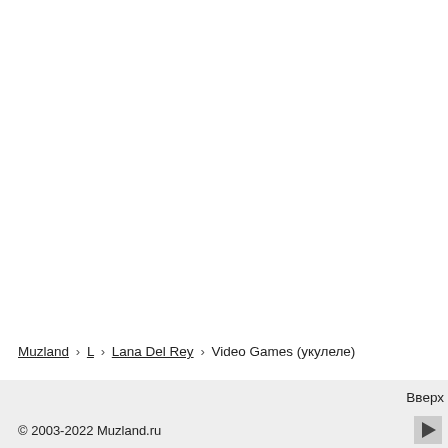Muzland › L › Lana Del Rey › Video Games (укулеле)
© 2003-2022 Muzland.ru